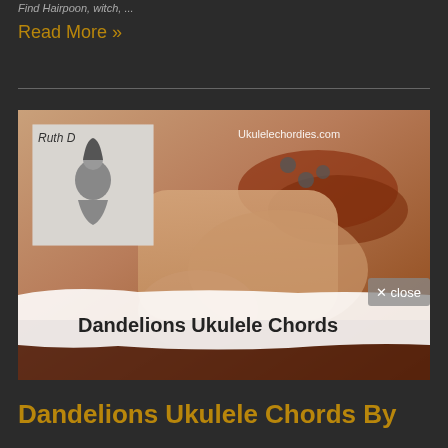Find Hairpoon, witch, ...
Read More »
[Figure (screenshot): Screenshot of a music website ukulelechordies.com showing a blurred close-up photo of someone playing a ukulele with a small black-and-white album cover (artist sitting hugging knees) in the upper left, the watermark 'Ukulelechordies.com' in the upper right, and an overlay at the bottom with a white brush-stroke background reading 'Dandelions Ukulele Chords' in bold dark text, plus a 'x close' button in the upper right of the overlay.]
Dandelions Ukulele Chords By